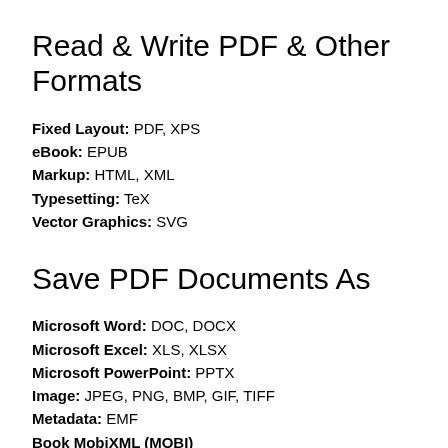Read & Write PDF & Other Formats
Fixed Layout: PDF, XPS
eBook: EPUB
Markup: HTML, XML
Typesetting: TeX
Vector Graphics: SVG
Save PDF Documents As
Microsoft Word: DOC, DOCX
Microsoft Excel: XLS, XLSX
Microsoft PowerPoint: PPTX
Image: JPEG, PNG, BMP, GIF, TIFF
Metadata: EMF
Book MobiXML (MOBI)